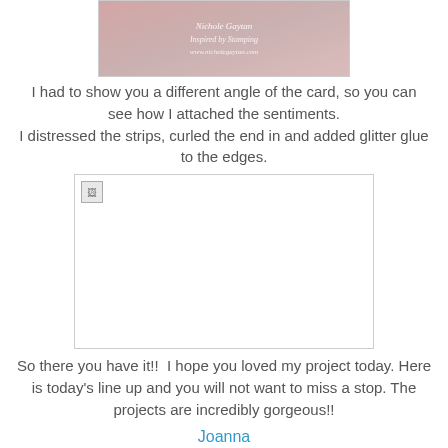[Figure (photo): Top portion of a crafted card photo with watermark text 'Nichole Gaytan Inspired by Stamping www.nicholegaytan.com']
I had to show you a different angle of the card, so you can see how I attached the sentiments.
I distressed the strips, curled the end in and added glitter glue to the edges.
[Figure (photo): A broken/missing image placeholder showing a crafting project photo]
So there you have it!!  I hope you loved my project today. Here is today's line up and you will not want to miss a stop. The projects are incredibly gorgeous!!
Joanna
Leah
Tina
Vicki